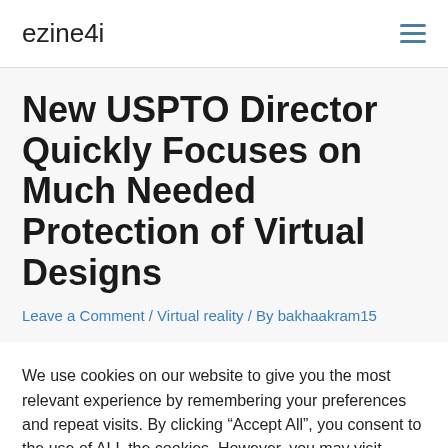ezine4i
New USPTO Director Quickly Focuses on Much Needed Protection of Virtual Designs
Leave a Comment / Virtual reality / By bakhaakram15
We use cookies on our website to give you the most relevant experience by remembering your preferences and repeat visits. By clicking “Accept All”, you consent to the use of ALL the cookies. However, you may visit "Cookie Settings" to provide a controlled consent.